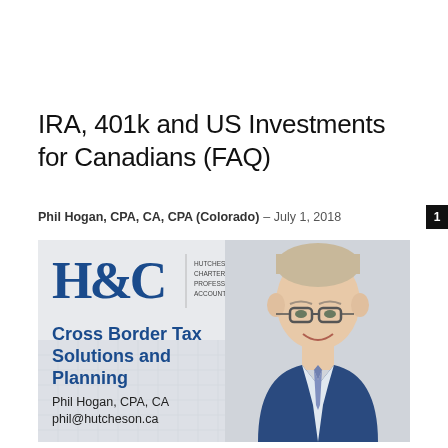IRA, 401k and US Investments for Canadians (FAQ)
Phil Hogan, CPA, CA, CPA (Colorado) – July 1, 2018
[Figure (illustration): Advertisement banner for Hutcheson & Co. Chartered Professional Accountants LLP featuring H&C logo, text 'Cross Border Tax Solutions and Planning', Phil Hogan CPA CA, phil@hutcheson.ca, and a photo of Phil Hogan]